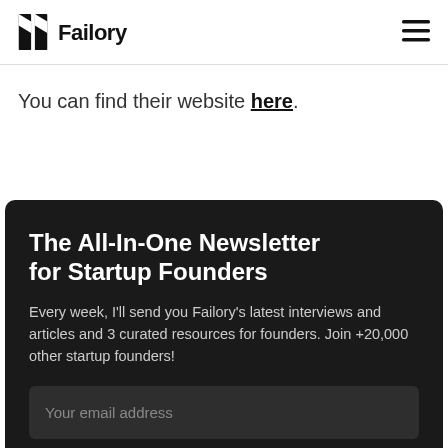Failory
You can find their website here.
The All-In-One Newsletter for Startup Founders
Every week, I'll send you Failory's latest interviews and articles and 3 curated resources for founders. Join +20,000 other startup founders!
Your email address